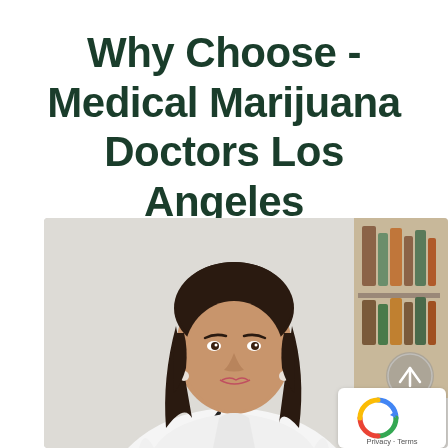Why Choose - Medical Marijuana Doctors Los Angeles
[Figure (photo): A female doctor with dark hair wearing a white coat, looking at the camera, in a medical office setting. There is a scroll-up button overlay and a reCAPTCHA badge in the lower right corner.]